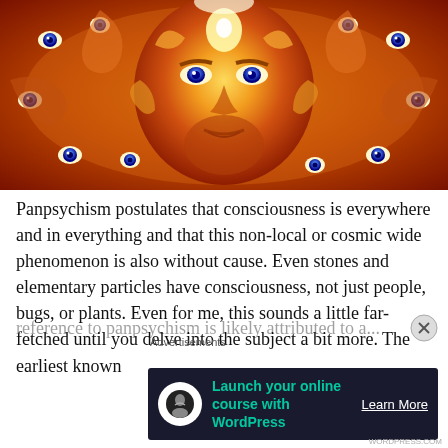[Figure (illustration): Psychedelic painting of a golden face surrounded by intricate fractal patterns with many blue eyes, in warm orange and red tones — likely Alex Grey style visionary art]
Panpsychism postulates that consciousness is everywhere and in everything and that this non-local or cosmic wide phenomenon is also without cause. Even stones and elementary particles have consciousness, not just people, bugs, or plants. Even for me, this sounds a little far-fetched until you delve into the subject a bit more. The earliest known
Advertisements
[Figure (other): Advertisement banner: dark background with circular white icon (tree/person silhouette), teal text 'Launch your online course with WordPress', white underlined 'Learn More' CTA button]